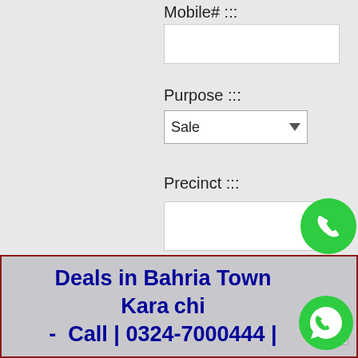Mobile# :::
[Figure (screenshot): Empty text input field for Mobile#]
Purpose :::
[Figure (screenshot): Dropdown select field showing 'Sale' with dropdown arrow]
Precinct :::
[Figure (screenshot): Text input field for Precinct with 'Call Now' button and green phone circle icon on the right]
Your message (optional)
[Figure (screenshot): Large textarea for optional message, with WhatsApp icon on the right]
Deals in Bahria Town Kara chi - Call | 0324-7000444 |